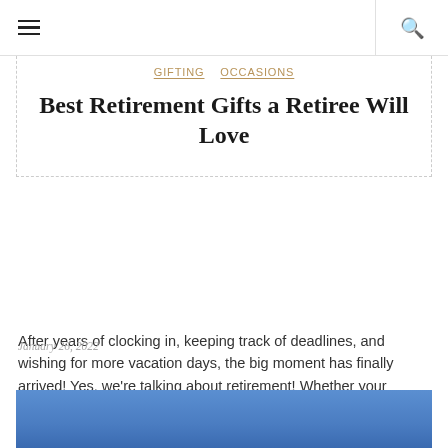≡  🔍
GIFTING   OCCASIONS
Best Retirement Gifts a Retiree Will Love
After years of clocking in, keeping track of deadlines, and wishing for more vacation days, the big moment has finally arrived! Yes, we're talking about retirement! Whether your parent, friend, or co-worker is retiring,...
January 26, 2022
[Figure (photo): Blue background image at bottom of article card]